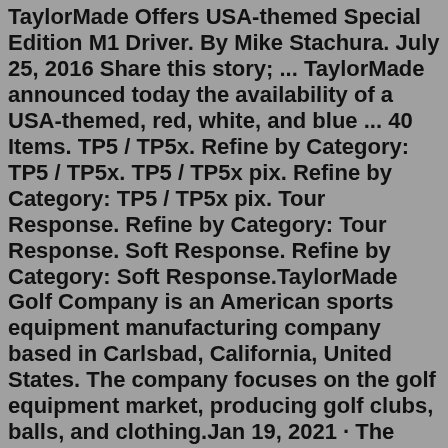USA-themed, red, white, and blue M1 Driver. By Mike Stachura. July 25, 2016 Share this story; ... TaylorMade announced today the availability of a USA-themed, red, white, and blue ... 40 Items. TP5 / TP5x. Refine by Category: TP5 / TP5x. TP5 / TP5x pix. Refine by Category: TP5 / TP5x pix. Tour Response. Refine by Category: Tour Response. Soft Response. Refine by Category: Soft Response.TaylorMade Golf Company is an American sports equipment manufacturing company based in Carlsbad, California, United States. The company focuses on the golf equipment market, producing golf clubs, balls, and clothing.Jan 19, 2021 · The @TaylorMade SIM2 may be the most intriguing new driver of 2021. The TaylorMade SIM2 driver family includes three models ( SIM2, SIM2 MAX, SIM2 MAX D ). Each of the models has a single-piece face cup and a forged aluminum ring to support the crown and sole. Retail price is $529.99. Availability starts Feb. 19. The most options available for Japanese